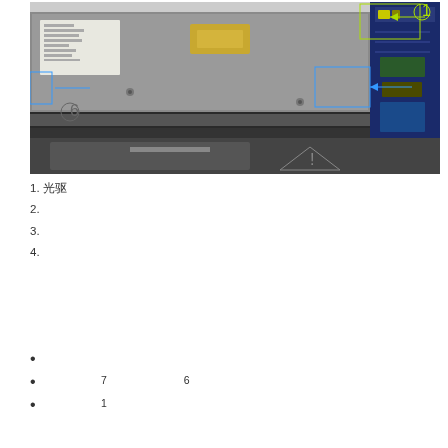[Figure (photo): Interior hardware photo of a laptop or computer showing internal components including an optical drive, SSD/mSATA card, and circuit board. Annotated with colored boxes: yellow/green numbered box (1) at top right with green arrow, blue box with blue arrow pointing left in middle right area, and blue outlined box at far left with blue arrow and circled number 6 below it.]
1. 光驱
2. ᄆᄆᄆᄆᄆᄆᄆᄆᄆᄆᄆ
3. ᄆᄆᄆᄆᄆᄆᄆᄆᄆᄆᄆᄆᄆᄆᄆᄆ
4. ᄆᄆᄆᄆᄆᄆᄆᄆᄆ
ᄆᄆᄆᄆᄆ
ᄆᄆᄆᄆᄆᄆᄆᄆᄆᄆᄆᄆᄆᄆᄆᄆᄆᄆᄆᄆᄆᄆᄆᄆᄆᄆᄆᄆᄆᄆᄆᄆᄆᄆᄆᄆᄆᄆᄆᄆᄆᄆ
ᄆᄆᄆᄆᄆ7ᄆᄆᄆᄆᄆᄆᄆ6ᄆᄆᄆᄆᄆᄆᄆᄆᄆᄆᄆᄆᄆ
ᄆᄆᄆᄆᄆ1ᄆᄆᄆᄆᄆᄆᄆᄆᄆᄆᄆ